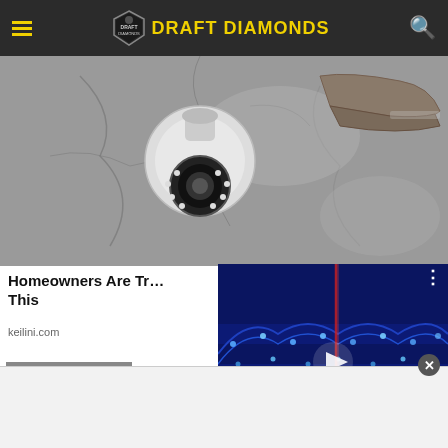Draft Diamonds
[Figure (photo): Security camera mounted on a cracked concrete/stone wall, viewed from above. White dome/PTZ camera with LED ring, beside a worn shoe sole.]
Homeowners Are Tr... This
keilini.com
[Figure (screenshot): Video player overlay showing a sports stadium with blue LED lights, a vertical red line indicator, play button in center, mute icon, progress bar with blue dot, and fullscreen icon.]
RELATED TOPICS